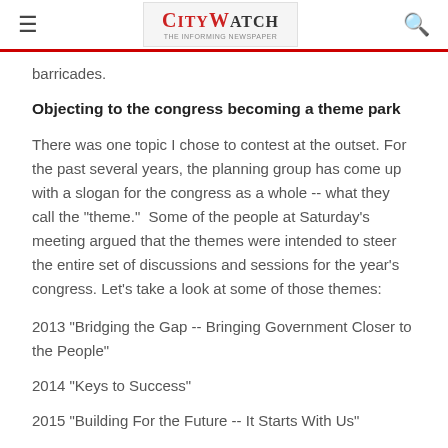CityWatch
barricades.
Objecting to the congress becoming a theme park
There was one topic I chose to contest at the outset. For the past several years, the planning group has come up with a slogan for the congress as a whole -- what they call the "theme."  Some of the people at Saturday's meeting argued that the themes were intended to steer the entire set of discussions and sessions for the year's congress. Let's take a look at some of those themes:
2013 "Bridging the Gap -- Bringing Government Closer to the People"
2014 "Keys to Success"
2015 "Building For the Future -- It Starts With Us"